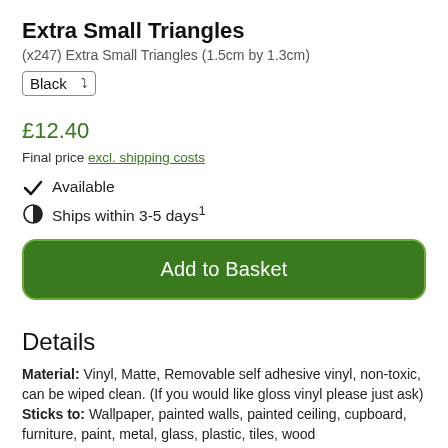Extra Small Triangles
(x247) Extra Small Triangles (1.5cm by 1.3cm)
Black [dropdown]
£12.40
Final price excl. shipping costs
✔ Available
⏱ Ships within 3-5 days¹
Add to Basket
Details
Material: Vinyl, Matte, Removable self adhesive vinyl, non-toxic, can be wiped clean. (If you would like gloss vinyl please just ask) Sticks to: Wallpaper, painted walls, painted ceiling, cupboard, furniture, paint, metal, glass, plastic, tiles, wood